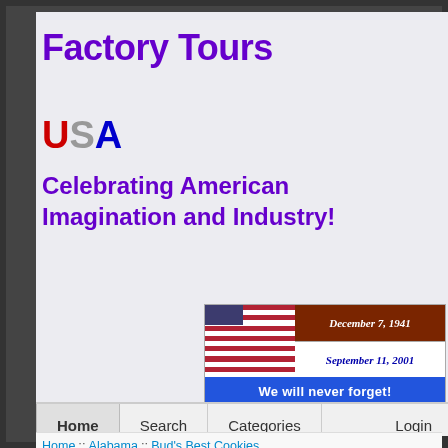Factory Tours
[Figure (logo): USA logo with U in red, S in gray, A in blue]
Celebrating American Imagination and Industry!
[Figure (infographic): American flag with dates December 7, 1941 and September 11, 2001 and text 'We will never forget!']
Home | Search | Categories | Login
Home :: Alabama :: Bud's Best Cookies